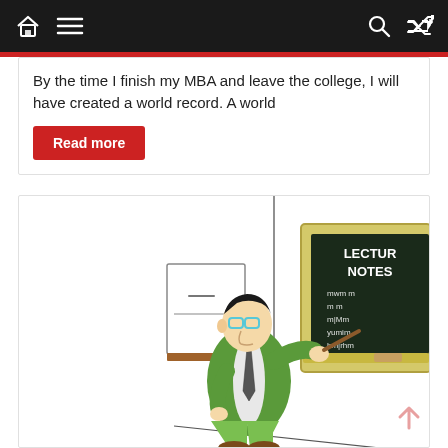Navigation bar with home, menu, search, and shuffle icons
By the time I finish my MBA and leave the college, I will have created a world record. A world
Read more
[Figure (illustration): Cartoon illustration of a professor in a green suit pointing a stick at a blackboard labeled 'LECTURE NOTES' with handwritten notes on it. There is a shelf/cabinet in the background.]